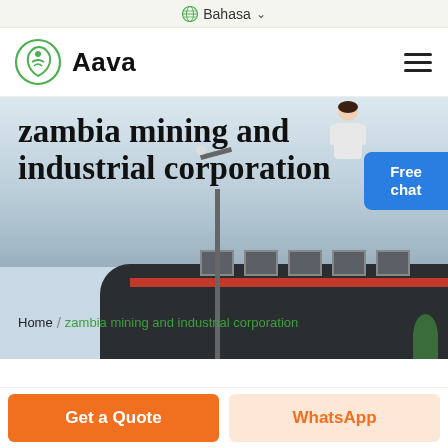🌐 Bahasa ∨
[Figure (logo): Aava brand logo with green leaf/plant circle icon and bold 'Aava' text, plus hamburger menu icon on the right]
zambia mining and industrial corporation
Home / zambia mining and industrial corporation
[Figure (photo): Photo of an industrial building with dark exterior, red stripe, and grid windows in background with light pole in foreground. Free chat badge with person illustration in upper right.]
Get a Quote
WhatsApp